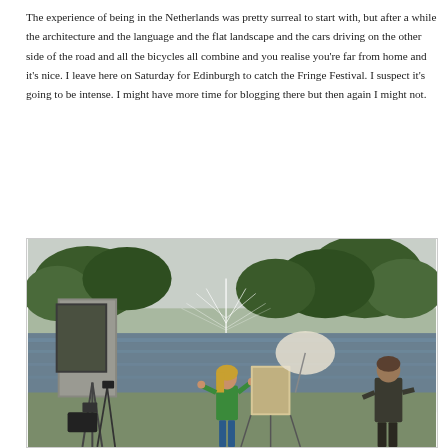The experience of being in the Netherlands was pretty surreal to start with, but after a while the architecture and the language and the flat landscape and the cars driving on the other side of the road and all the bicycles all combine and you realise you're far from home and it's nice. I leave here on Saturday for Edinburgh to catch the Fringe Festival. I suspect it's going to be intense. I might have more time for blogging there but then again I might not.
[Figure (photo): Outdoor park scene near a pond with a fountain spraying water. Several people are visible: a woman in a green top painting or photographing near an easel, a man on the right side facing away, and photography equipment including tripods and cameras. Trees and greenery are in the background. The sky is overcast.]